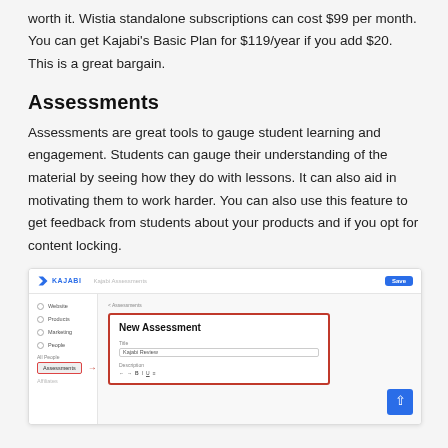worth it. Wistia standalone subscriptions can cost $99 per month. You can get Kajabi's Basic Plan for $119/year if you add $20. This is a great bargain.
Assessments
Assessments are great tools to gauge student learning and engagement. Students can gauge their understanding of the material by seeing how they do with lessons. It can also aid in motivating them to work harder. You can also use this feature to get feedback from students about your products and if you opt for content locking.
[Figure (screenshot): Screenshot of the Kajabi platform interface showing the New Assessment creation modal with a red border highlight, fields for Title (showing 'Kajabi Review') and Description with a formatting toolbar. The left sidebar shows navigation items including Website, Products, Marketing, People, All People, and Assessments (highlighted). A red arrow points to the Assessments menu item.]